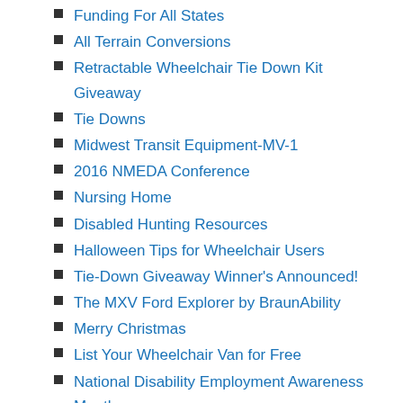Funding For All States
All Terrain Conversions
Retractable Wheelchair Tie Down Kit Giveaway
Tie Downs
Midwest Transit Equipment-MV-1
2016 NMEDA Conference
Nursing Home
Disabled Hunting Resources
Halloween Tips for Wheelchair Users
Tie-Down Giveaway Winner's Announced!
The MXV Ford Explorer by BraunAbility
Merry Christmas
List Your Wheelchair Van for Free
National Disability Employment Awareness Month
Valentines Date
wheelchairgames
All New ...